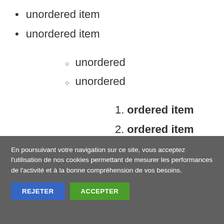unordered item
unordered item
unordered
unordered
ordered item
ordered item
unordered item
unordered item
En poursuivant votre navigation sur ce site, vous acceptez l'utilisation de nos cookies permettant de mesurer les performances de l'activité et à la bonne compréhension de vos besoins.
REJETER    ACCEPTER